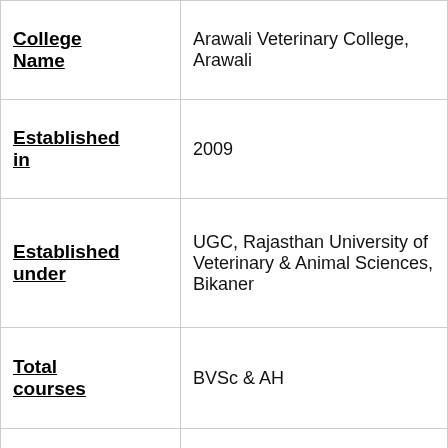| Field | Value |
| --- | --- |
| College Name | Arawali Veterinary College, Arawali |
| Established in | 2009 |
| Established under | UGC, Rajasthan University of Veterinary & Animal Sciences, Bikaner |
| Total courses | BVSc & AH |
| Approved by | UGC, Veterinary Council of India |